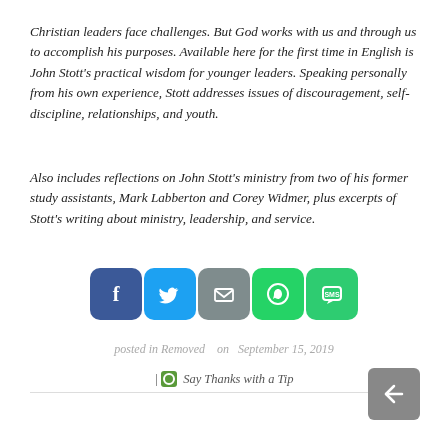Christian leaders face challenges. But God works with us and through us to accomplish his purposes. Available here for the first time in English is John Stott's practical wisdom for younger leaders. Speaking personally from his own experience, Stott addresses issues of discouragement, self-discipline, relationships, and youth.
Also includes reflections on John Stott's ministry from two of his former study assistants, Mark Labberton and Corey Widmer, plus excerpts of Stott's writing about ministry, leadership, and service.
[Figure (infographic): Social sharing buttons: Facebook (blue), Twitter (light blue), Email (gray), WhatsApp (green), SMS (green)]
posted in Removed   on  September 15, 2019
| Say Thanks with a Tip